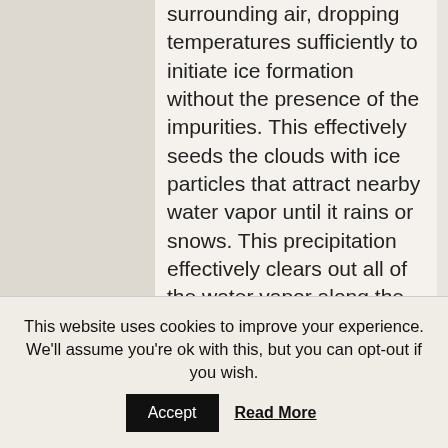surrounding air, dropping temperatures sufficiently to initiate ice formation without the presence of the impurities. This effectively seeds the clouds with ice particles that attract nearby water vapor until it rains or snows. This precipitation effectively clears out all of the water vapor along the path flown, causing the holes that give these clouds their name.

Heymsfield and his colleagues were
This website uses cookies to improve your experience. We'll assume you're ok with this, but you can opt-out if you wish.